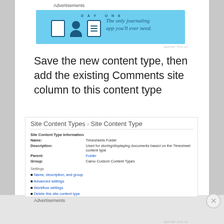Advertisements
[Figure (screenshot): Day One journaling app advertisement banner - blue background with 'DAY ONE' text and icons, tagline 'The only journaling app you'll ever need.']
Save the new content type, then add the existing Comments site column to this content type
[Figure (screenshot): SharePoint Site Content Types > Site Content Type page showing: Site Content Type Information with Name: Timesheets Folder, Description: Used for storing/displaying documents based on the Timesheet content type, Parent: Folder, Group: Camo Custom Content Types. Settings section with links: Name, description, and group; Advanced settings; Workflow settings; Delete this site content type]
Advertisements